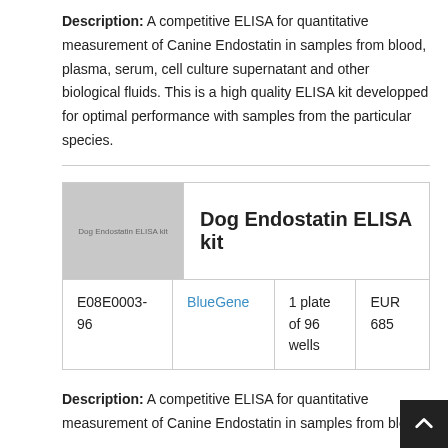Description: A competitive ELISA for quantitative measurement of Canine Endostatin in samples from blood, plasma, serum, cell culture supernatant and other biological fluids. This is a high quality ELISA kit developped for optimal performance with samples from the particular species.
[Figure (photo): Product image placeholder showing 'Dog Endostatin ELISA kit' label on a grey background]
Dog Endostatin ELISA kit
|  | Supplier | Quantity | Price |
| --- | --- | --- | --- |
| E08E0003-96 | BlueGene | 1 plate of 96 wells | EUR 685 |
Description: A competitive ELISA for quantitative measurement of Canine Endostatin in samples from blood,